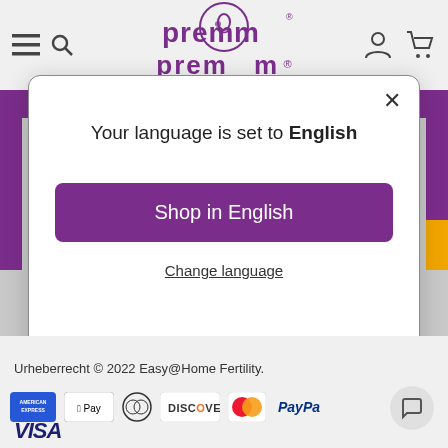[Figure (screenshot): Premom website header with hamburger menu, search icon, Premom logo in purple, user account icon, and shopping cart icon on gray background]
[Figure (screenshot): Modal dialog popup: 'Your language is set to English' with 'Shop in English' purple button and 'Change language' underlined link, with X close button]
Your language is set to English
Shop in English
Change language
Urheberrecht © 2022 Easy@Home Fertility.
[Figure (logo): Payment method logos: American Express, Apple Pay, Diners Club, Discover, Mastercard, PayPal, Visa]